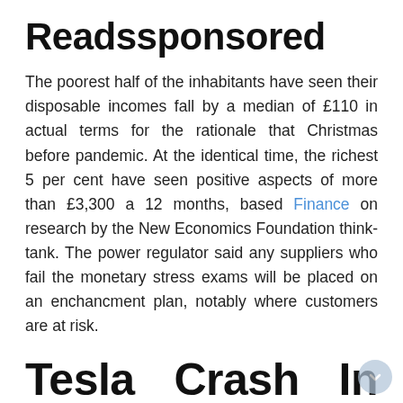Readssponsored
The poorest half of the inhabitants have seen their disposable incomes fall by a median of £110 in actual terms for the rationale that Christmas before pandemic. At the identical time, the richest 5 per cent have seen positive aspects of more than £3,300 a 12 months, based Finance on research by the New Economics Foundation think-tank. The power regulator said any suppliers who fail the monetary stress exams will be placed on an enchancment plan, notably where customers are at risk.
Tesla Crash In Paris: Electrical Automotive